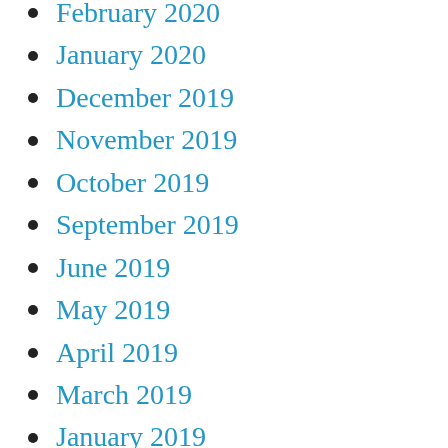February 2020
January 2020
December 2019
November 2019
October 2019
September 2019
June 2019
May 2019
April 2019
March 2019
January 2019
November 2018
October 2018
September 2018
August 2018
July 2018
May 2018